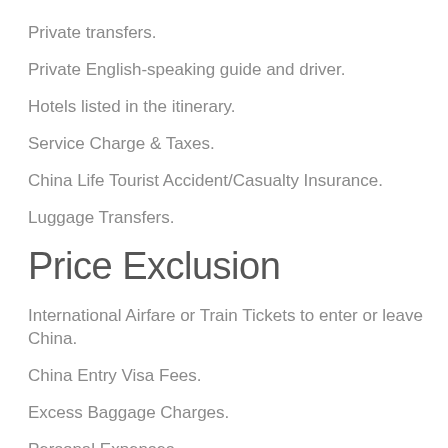Private transfers.
Private English-speaking guide and driver.
Hotels listed in the itinerary.
Service Charge & Taxes.
China Life Tourist Accident/Casualty Insurance.
Luggage Transfers.
Price Exclusion
International Airfare or Train Tickets to enter or leave China.
China Entry Visa Fees.
Excess Baggage Charges.
Personal Expenses.
Any meals that are not mentioned in the tour